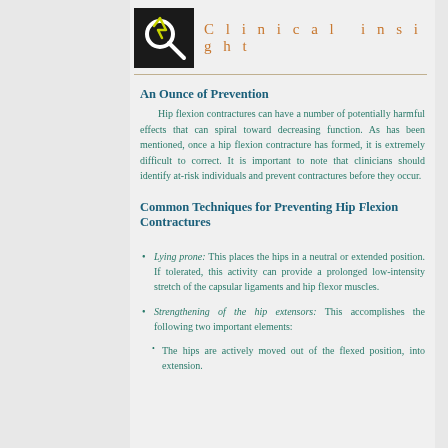Clinical insight
An Ounce of Prevention
Hip flexion contractures can have a number of potentially harmful effects that can spiral toward decreasing function. As has been mentioned, once a hip flexion contracture has formed, it is extremely difficult to correct. It is important to note that clinicians should identify at-risk individuals and prevent contractures before they occur.
Common Techniques for Preventing Hip Flexion Contractures
Lying prone: This places the hips in a neutral or extended position. If tolerated, this activity can provide a prolonged low-intensity stretch of the capsular ligaments and hip flexor muscles.
Strengthening of the hip extensors: This accomplishes the following two important elements:
The hips are actively moved out of the flexed position, into extension.